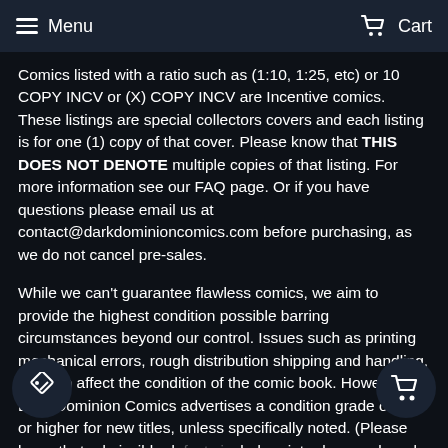Menu   Cart
Comics listed with a ratio such as (1:10, 1:25, etc) or 10 COPY INCV or (X) COPY INCV are Incentive comics. These listings are special collectors covers and each listing is for one (1) copy of that cover. Please know that THIS DOES NOT DENOTE multiple copies of that listing. For more information see our FAQ page. Or if you have questions please email us at contact@darkdominioncomics.com before purchasing, as we do not cancel pre-sales.
While we can't guarantee flawless comics, we aim to provide the highest condition possible barring circumstances beyond our control. Issues such as printing mechanical errors, rough distribution shipping and handling, etc. can affect the condition of the comic book. However, Dark Dominion Comics advertises a condition grade of 9.2 or higher for new titles, unless specifically noted. (Please know that admissible d[efects] include printer burn, color rub, cover art and/or trade d[ress not] perfectly centered, minimal wear, or other con[diti]ons beyond our control.)